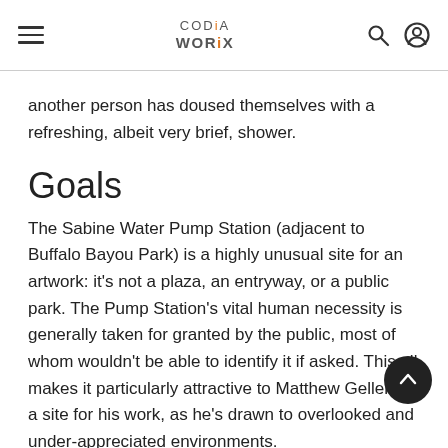CODiA WORiX (logo with navigation menu, search icon, and user icon)
another person has doused themselves with a refreshing, albeit very brief, shower.
Goals
The Sabine Water Pump Station (adjacent to Buffalo Bayou Park) is a highly unusual site for an artwork: it’s not a plaza, an entryway, or a public park. The Pump Station’s vital human necessity is generally taken for granted by the public, most of whom wouldn’t be able to identify it if asked. This all makes it particularly attractive to Matthew Geller as a site for his work, as he’s drawn to overlooked and under-appreciated environments.
The 60-foot tall structure of 12-, 8- and 4-inch st… pipes with amber and blue beacons on top stands inside the restricted grounds of the Sabine Water Pump…